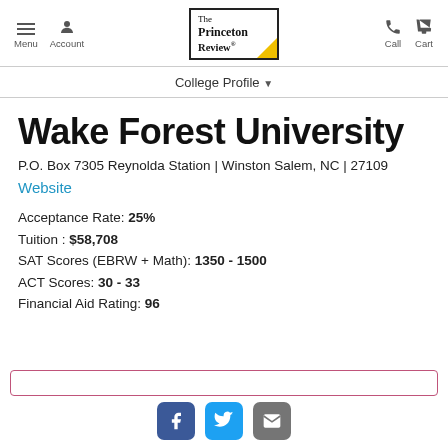Menu | Account | The Princeton Review | Call | Cart
College Profile
Wake Forest University
P.O. Box 7305 Reynolda Station | Winston Salem, NC | 27109
Website
Acceptance Rate: 25%
Tuition : $58,708
SAT Scores (EBRW + Math): 1350 - 1500
ACT Scores: 30 - 33
Financial Aid Rating: 96
Social icons: Facebook, Twitter, Email